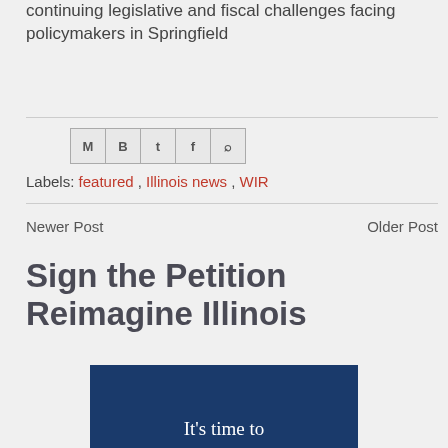continuing legislative and fiscal challenges facing policymakers in Springfield
[Figure (other): Social share icons: Gmail (M), Blogger (B), Twitter (t), Facebook (f), Pinterest (p)]
Labels: featured , Illinois news , WIR
Newer Post
Older Post
Sign the Petition Reimagine Illinois
[Figure (illustration): Dark blue banner image with white text reading 'It's time to']